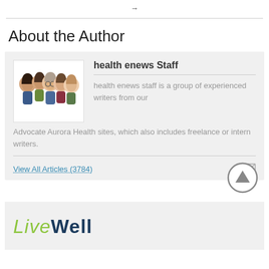→
About the Author
[Figure (illustration): Illustrated group of five people (health enews Staff author avatar)]
health enews Staff
health enews staff is a group of experienced writers from our Advocate Aurora Health sites, which also includes freelance or intern writers.
View All Articles (3784)
[Figure (logo): LiveWell logo in green and dark blue]